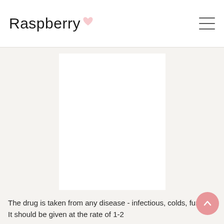Raspberry
[Figure (illustration): Large white content area / article image placeholder below the Raspberry website header, forming a rectangular white box on a light beige background]
The drug is taken from any disease - infectious, colds, fungal. It should be given at the rate of 1-2